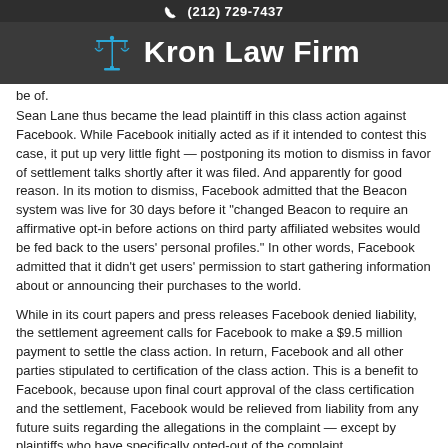(212) 729-7437 | Kron Law Firm
be of.
Sean Lane thus became the lead plaintiff in this class action against Facebook. While Facebook initially acted as if it intended to contest this case, it put up very little fight — postponing its motion to dismiss in favor of settlement talks shortly after it was filed. And apparently for good reason. In its motion to dismiss, Facebook admitted that the Beacon system was live for 30 days before it "changed Beacon to require an affirmative opt-in before actions on third party affiliated websites would be fed back to the users' personal profiles." In other words, Facebook admitted that it didn't get users' permission to start gathering information about or announcing their purchases to the world.
While in its court papers and press releases Facebook denied liability, the settlement agreement calls for Facebook to make a $9.5 million payment to settle the class action. In return, Facebook and all other parties stipulated to certification of the class action. This is a benefit to Facebook, because upon final court approval of the class certification and the settlement, Facebook would be relieved from liability from any future suits regarding the allegations in the complaint — except by plaintiffs who have specifically opted-out of the complaint.